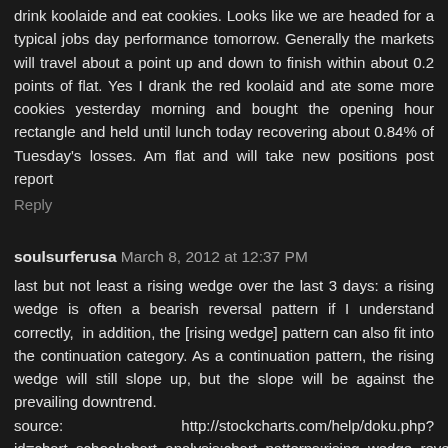drink koolaide and eat cookies. Looks like we are headed for a typical jobs day performance tomorrow. Generally the markets will travel about a point up and down to finish within about 0.2 points of flat. Yes I drank the red koolaid and ate some more cookies yesterday morning and bought the opening hour rectangle and held until lunch today recovering about 0.84% of Tuesday's losses. Am flat and will take new positions post report
Reply
soulsurferusa March 8, 2012 at 12:37 PM
last but not least a rising wedge over the last 3 days: a rising wedge is often a bearish reversal pattern if I understand correctly,  in addition, the [rising wedge] pattern can also fit into the continuation category. As a continuation pattern, the rising wedge will still slope up, but the slope will be against the prevailing downtrend.
source:                http://stockcharts.com/help/doku.php?id=chart_school:chart_analysis:chart_patterns:rising_wedge_reversa